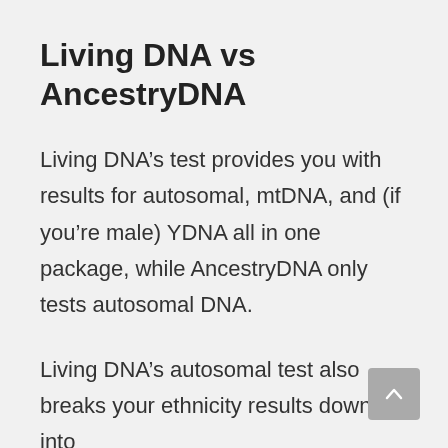Living DNA vs AncestryDNA
Living DNA’s test provides you with results for autosomal, mtDNA, and (if you’re male) YDNA all in one package, while AncestryDNA only tests autosomal DNA.
Living DNA’s autosomal test also breaks your ethnicity results down into